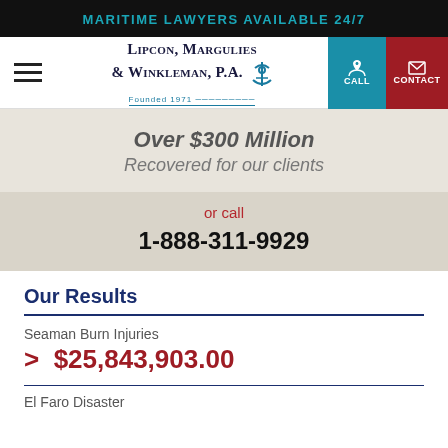MARITIME LAWYERS AVAILABLE 24/7
[Figure (logo): Lipcon, Margulies & Winkleman, P.A. Founded 1971 law firm logo with anchor icon, plus CALL and CONTACT navigation buttons]
Over $300 Million
Recovered for our clients
or call
1-888-311-9929
Our Results
Seaman Burn Injuries
> $25,843,903.00
El Faro Disaster